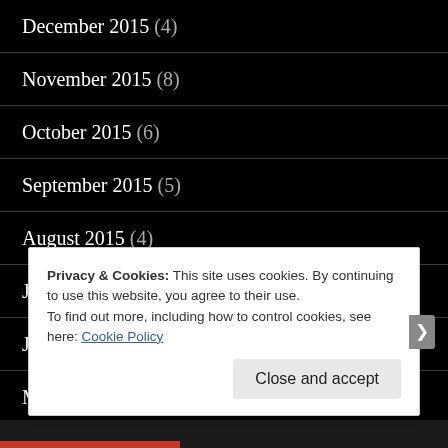December 2015 (4)
November 2015 (8)
October 2015 (6)
September 2015 (5)
August 2015 (4)
July 2015 (4)
June 2015 (7)
May 2015 (6)
April 2015 (7)
Privacy & Cookies: This site uses cookies. By continuing to use this website, you agree to their use.
To find out more, including how to control cookies, see here: Cookie Policy
Close and accept